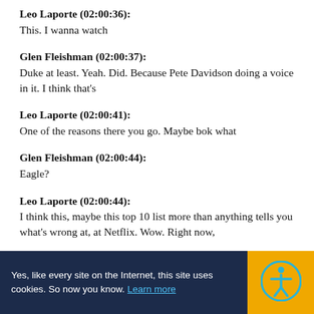Leo Laporte (02:00:36):
This. I wanna watch
Glen Fleishman (02:00:37):
Duke at least. Yeah. Did. Because Pete Davidson doing a voice in it. I think that's
Leo Laporte (02:00:41):
One of the reasons there you go. Maybe bok what
Glen Fleishman (02:00:44):
Eagle?
Leo Laporte (02:00:44):
I think this, maybe this top 10 list more than anything tells you what's wrong at, at Netflix. Wow. Right now,
Yes, like every site on the Internet, this site uses cookies. So now you know. Learn more